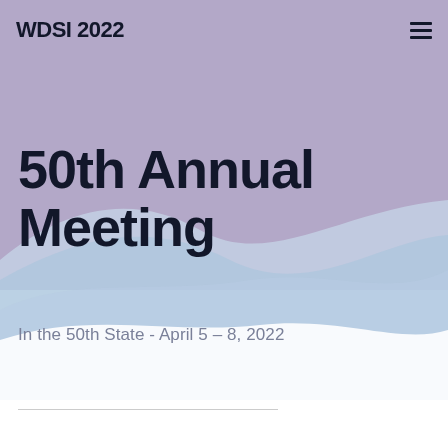WDSI 2022
50th Annual Meeting
In the 50th State - April 5 – 8, 2022